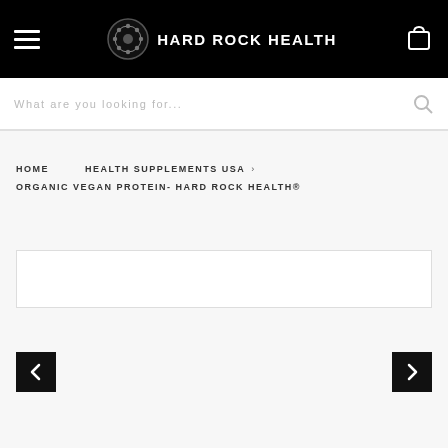Hard Rock Health
What are you looking for...
HOME  HEALTH SUPPLEMENTS USA  >  ORGANIC VEGAN PROTEIN- HARD ROCK HEALTH®
[Figure (other): Empty white image area with border]
[Figure (other): Left navigation arrow button (black square with white chevron pointing left)]
[Figure (other): Right navigation arrow button (black square with white chevron pointing right)]